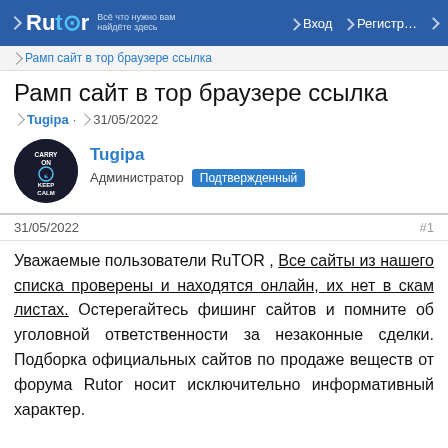Rutor — Вход — Регистр...
Рамп сайт в тор браузере ссылка
Рамп сайт в тор браузере ссылка
Tugipa · 31/05/2022
[Figure (other): User avatar circle with dark background and text CARRY ON / KEEP CALM]
Tugipa
Администратор Подтвержденный
31/05/2022
#1
Уважаемые пользователи RuTOR , Все сайты из нашего списка проверены и находятся онлайн, их нет в скам листах. Остерегайтесь фишинг сайтов и помните об уголовной ответственности за незаконные сделки. Подборка официальных сайтов по продаже веществ от форума Rutor носит исключительно информативный характер.